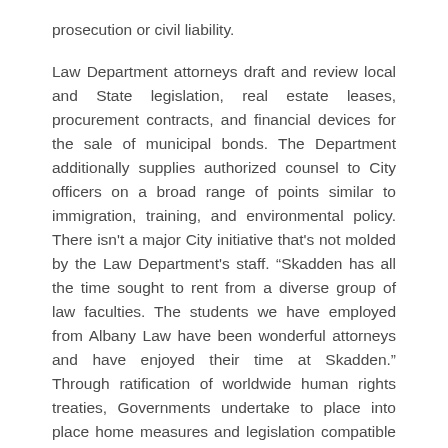prosecution or civil liability.
Law Department attorneys draft and review local and State legislation, real estate leases, procurement contracts, and financial devices for the sale of municipal bonds. The Department additionally supplies authorized counsel to City officers on a broad range of points similar to immigration, training, and environmental policy. There isn't a major City initiative that's not molded by the Law Department's staff. “Skadden has all the time sought to rent from a diverse group of law faculties. The students we have employed from Albany Law have been wonderful attorneys and have enjoyed their time at Skadden.” Through ratification of worldwide human rights treaties, Governments undertake to place into place home measures and legislation compatible with their treaty obligations and duties. International human rights law lays down obligations which States are bound to respect.